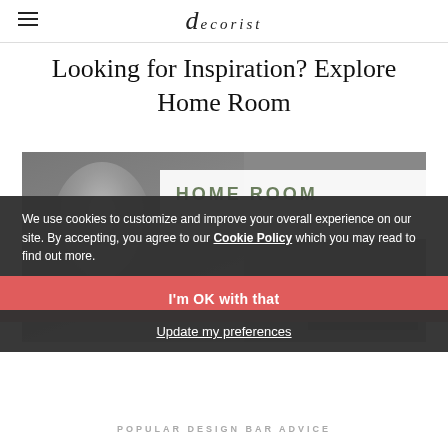decorist
Looking for Inspiration? Explore Home Room
[Figure (photo): Promotional image for 'Home Room by Decorist' showing a young man in a dark jacket against a grey background, with a white overlay panel showing 'HOME ROOM by decorist' branding and a 'LEARN MORE' button]
We use cookies to customize and improve your overall experience on our site. By accepting, you agree to our Cookie Policy which you may read to find out more.
I'm OK with that
Update my preferences
POPULAR DESIGN BAR ADVICE